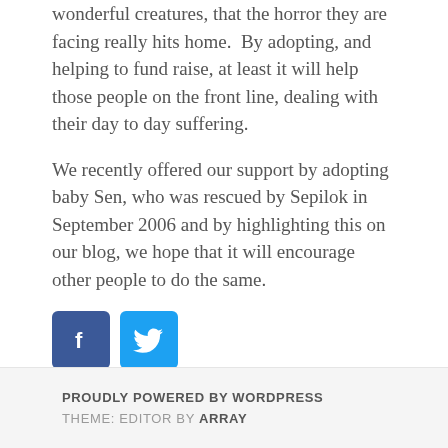wonderful creatures, that the horror they are facing really hits home.  By adopting, and helping to fund raise, at least it will help those people on the front line, dealing with their day to day suffering.
We recently offered our support by adopting baby Sen, who was rescued by Sepilok in September 2006 and by highlighting this on our blog, we hope that it will encourage other people to do the same.
[Figure (other): Facebook and Twitter social sharing icon buttons]
PROUDLY POWERED BY WORDPRESS
THEME: EDITOR BY ARRAY